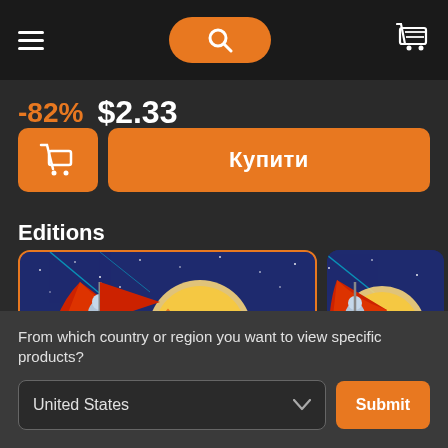[Figure (screenshot): Navigation bar with hamburger menu, orange search button, and shopping cart icon]
-82% $2.33
[Figure (screenshot): Orange cart button and orange 'Купити' buy button]
Editions
[Figure (screenshot): Two Surviving Mars Space Race game edition cover images side by side]
From which country or region you want to view specific products?
[Figure (screenshot): Dropdown selector showing 'United States' with a Submit button]